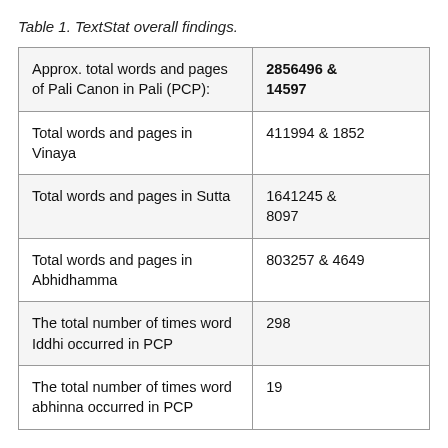Table 1. TextStat overall findings.
| Approx. total words and pages of Pali Canon in Pali (PCP): | 2856496 & 14597 |
| Total words and pages in Vinaya | 411994 & 1852 |
| Total words and pages in Sutta | 1641245 & 8097 |
| Total words and pages in Abhidhamma | 803257 & 4649 |
| The total number of times word Iddhi occurred in PCP | 298 |
| The total number of times word abhinna occurred in PCP | 19 |